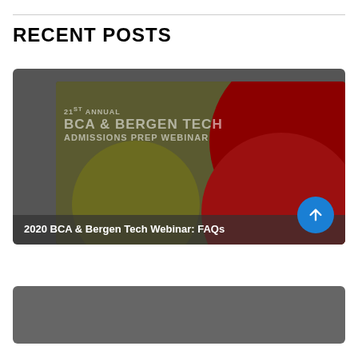RECENT POSTS
[Figure (photo): Card image showing '21st Annual BCA & Bergen Tech Admissions Prep Webinar' with dark olive background and red circular design elements]
2020 BCA & Bergen Tech Webinar: FAQs
[Figure (screenshot): Partially visible second post card at bottom of page]